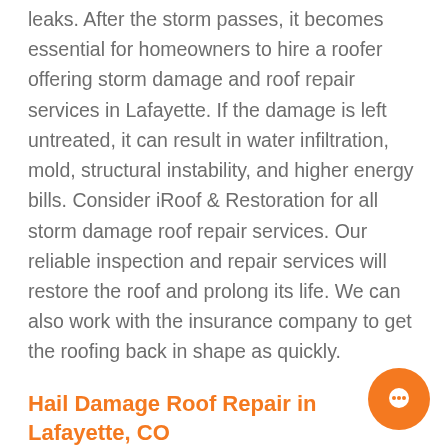leaks. After the storm passes, it becomes essential for homeowners to hire a roofer offering storm damage and roof repair services in Lafayette. If the damage is left untreated, it can result in water infiltration, mold, structural instability, and higher energy bills. Consider iRoof & Restoration for all storm damage roof repair services. Our reliable inspection and repair services will restore the roof and prolong its life. We can also work with the insurance company to get the roofing back in shape as quickly.
Hail Damage Roof Repair in Lafayette, CO
Hails vary in size, and so the damages caused them. Colorado is known for severe hail storms